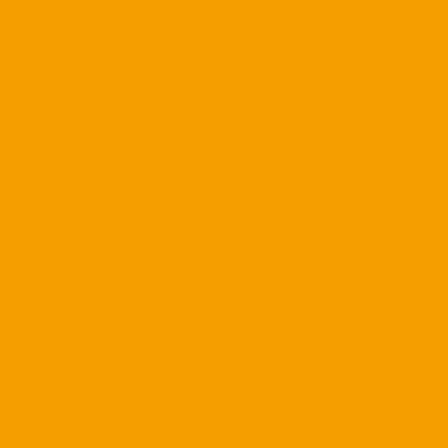GO CANES!!!
Posted by: 360Cane | November 23
[Figure (photo): Miami Hurricanes cap avatar image]
USF looks like they play a p...
IMO this sure the heck isnt t... how someone picks things up...
Start SM17, he has earned th...
Posted by: Sebastian | November 2...
[Figure (illustration): Green swirl pattern avatar image]
360Cane, solid points.
And in fact, nobody is questio... Coker when it comes to recru...
It's the gametime moves that... "assistant head coach" in cha... interaction with the players, d... do what he does best, keepin... all happy.
Hmm, who makes good gam...